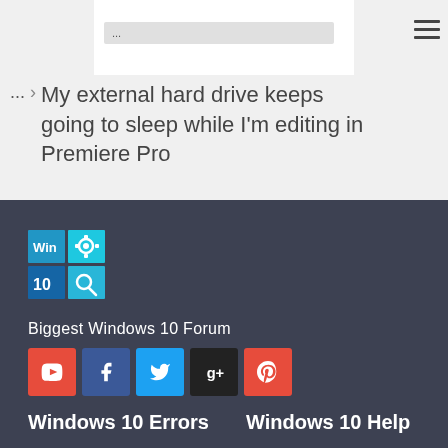[Figure (screenshot): Search/input box with ellipsis text '...' on light gray background, partial white card area]
... > My external hard drive keeps going to sleep while I'm editing in Premiere Pro
[Figure (logo): Windows 10 logo with blue tiles showing 'Win 10' text alongside gear and search icons]
Biggest Windows 10 Forum
[Figure (infographic): Row of social media icons: YouTube (red), Facebook (dark blue), Twitter (light blue), Google+ (dark/black), Pinterest (red)]
Windows 10 Errors
Windows 10 Help